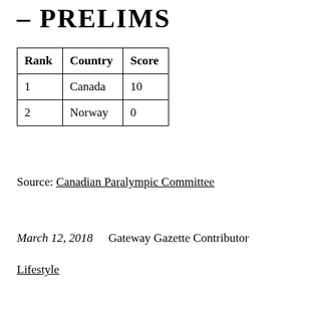– PRELIMS
| Rank | Country | Score |
| --- | --- | --- |
| 1 | Canada | 10 |
| 2 | Norway | 0 |
Source: Canadian Paralympic Committee
March 12, 2018    Gateway Gazette Contributor
Lifestyle